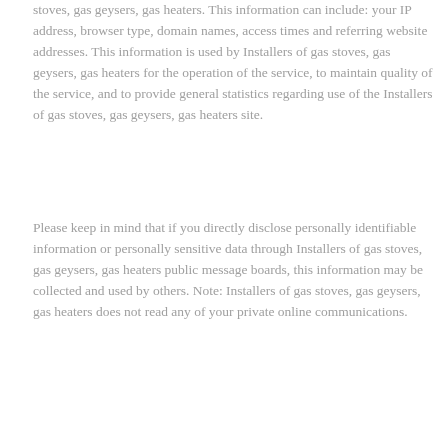stoves, gas geysers, gas heaters. This information can include: your IP address, browser type, domain names, access times and referring website addresses. This information is used by Installers of gas stoves, gas geysers, gas heaters for the operation of the service, to maintain quality of the service, and to provide general statistics regarding use of the Installers of gas stoves, gas geysers, gas heaters site.
Please keep in mind that if you directly disclose personally identifiable information or personally sensitive data through Installers of gas stoves, gas geysers, gas heaters public message boards, this information may be collected and used by others. Note: Installers of gas stoves, gas geysers, gas heaters does not read any of your private online communications.